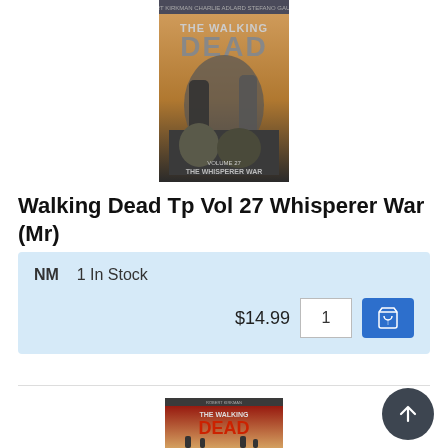[Figure (illustration): Comic book cover of The Walking Dead Tp Vol 27 Whisperer War showing zombie and fighting characters with orange/dark background]
Walking Dead Tp Vol 27 Whisperer War (Mr)
NM   1 In Stock
$14.99   1   [Add to cart button]
[Figure (illustration): Comic book cover of The Walking Dead showing red title and zombie hands reaching up]